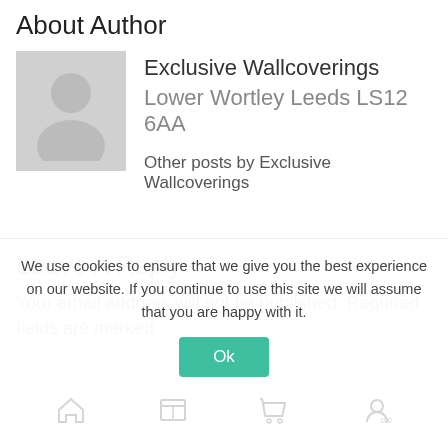About Author
[Figure (illustration): Gray placeholder avatar silhouette with person icon on gray background]
Exclusive Wallcoverings
Lower Wortley Leeds LS12 6AA
Other posts by Exclusive Wallcoverings
Leave A Reply
Your email address will not be published. Required fields are marked
We use cookies to ensure that we give you the best experience on our website. If you continue to use this site we will assume that you are happy with it.